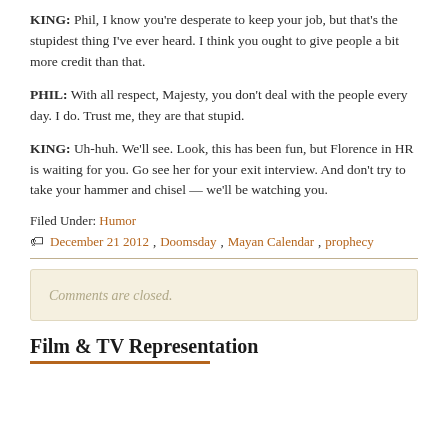KING: Phil, I know you're desperate to keep your job, but that's the stupidest thing I've ever heard. I think you ought to give people a bit more credit than that.
PHIL: With all respect, Majesty, you don't deal with the people every day. I do. Trust me, they are that stupid.
KING: Uh-huh. We'll see. Look, this has been fun, but Florence in HR is waiting for you. Go see her for your exit interview. And don't try to take your hammer and chisel — we'll be watching you.
Filed Under: Humor
December 21 2012, Doomsday, Mayan Calendar, prophecy
Comments are closed.
Film & TV Representation